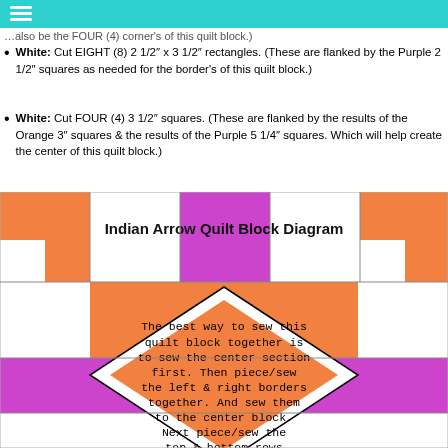White: Cut EIGHT (8) 2 1/2" x 3 1/2" rectangles. (These are flanked by the Purple 2 1/2" squares as needed for the border's of this quilt block.)
White: Cut FOUR (4) 3 1/2" squares. (These are flanked by the results of the Orange 3" squares & the results of the Purple 5 1/4" squares. Which will help create the center of this quilt block.)
[Figure (illustration): Indian Arrow Quilt Block Diagram showing a colorful quilt pattern with orange, purple, and white sections arranged in a geometric pattern. Text overlay describes the sewing instructions for assembling the quilt block.]